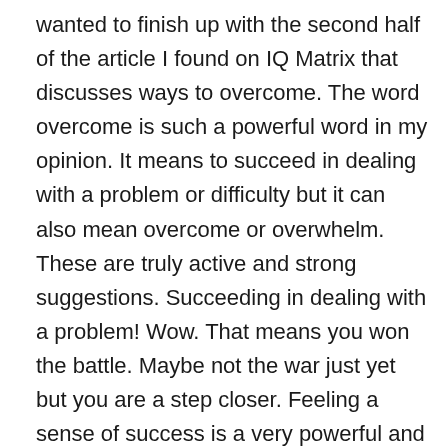wanted to finish up with the second half of the article I found on IQ Matrix that discusses ways to overcome. The word overcome is such a powerful word in my opinion. It means to succeed in dealing with a problem or difficulty but it can also mean overcome or overwhelm. These are truly active and strong suggestions. Succeeding in dealing with a problem! Wow. That means you won the battle. Maybe not the war just yet but you are a step closer. Feeling a sense of success is a very powerful and very motivating sensation. It elevates our spirits and allows us to believe that YES! We can do something. How empowering and how motivating. I love it. But overcome can also be deflating as well. Being overcome with emotion or overwhelmed can manifest in lack of action. We can freeze, hide, become defeated and afraid. In as much as that is also a reality of our lives, I am choosing